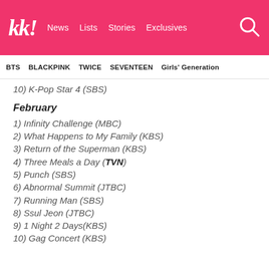kk! News Lists Stories Exclusives [search]
BTS  BLACKPINK  TWICE  SEVENTEEN  Girls' Generation
10) K-Pop Star 4 (SBS)
February
1) Infinity Challenge (MBC)
2) What Happens to My Family (KBS)
3) Return of the Superman (KBS)
4) Three Meals a Day (TVN)
5) Punch (SBS)
6) Abnormal Summit (JTBC)
7) Running Man (SBS)
8) Ssul Jeon (JTBC)
9) 1 Night 2 Days(KBS)
10) Gag Concert (KBS)